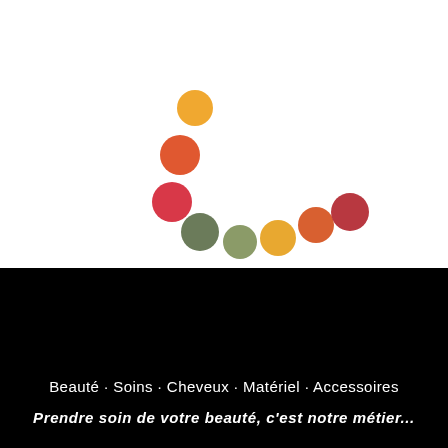[Figure (logo): A decorative logo made of colored dots arranged in a curved arc shape, like a smile or C-shape. Colors from top to bottom-right: orange, red-orange, pink-red, dark sage green, olive green, golden yellow, orange-red, dark red. The dots form a gentle downward curve.]
Beauté · Soins · Cheveux · Matériel · Accessoires
Prendre soin de votre beauté, c'est notre métier...